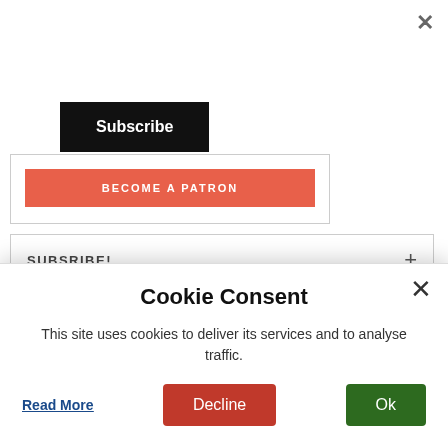[Figure (screenshot): Close X button at top right of page]
[Figure (screenshot): Black Subscribe button]
[Figure (screenshot): Red BECOME A PATRON banner inside a bordered box]
SUBSRIBE!
[Figure (logo): My Travelogue logo with decorative text and grey illustrated background]
Cookie Consent
This site uses cookies to deliver its services and to analyse traffic.
Read More
Decline
Ok